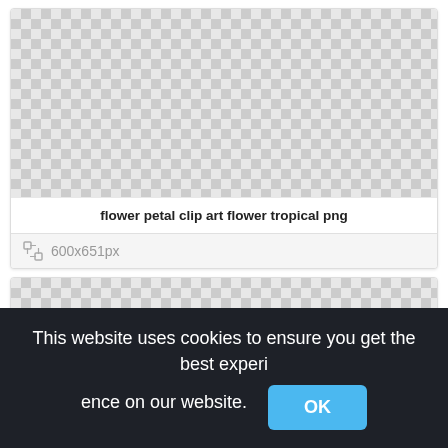[Figure (other): Transparent/checkerboard placeholder image area for flower petal clip art flower tropical png]
flower petal clip art flower tropical png
600x651px
[Figure (other): Second transparent/checkerboard placeholder image area]
This website uses cookies to ensure you get the best experience on our website.
OK